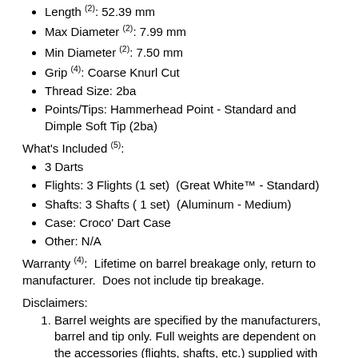Length (2): 52.39 mm
Max Diameter (2): 7.99 mm
Min Diameter (2): 7.50 mm
Grip (4): Coarse Knurl Cut
Thread Size: 2ba
Points/Tips: Hammerhead Point - Standard and Dimple Soft Tip (2ba)
What's Included (5):
3 Darts
Flights: 3 Flights (1 set)  (Great White™ - Standard)
Shafts: 3 Shafts ( 1 set)  (Aluminum - Medium)
Case: Croco' Dart Case
Other: N/A
Warranty (4):  Lifetime on barrel breakage only, return to manufacturer.  Does not include tip breakage.
Disclaimers:
Barrel weights are specified by the manufacturers, barrel and tip only. Full weights are dependent on the accessories (flights, shafts, etc.) supplied with the dart.